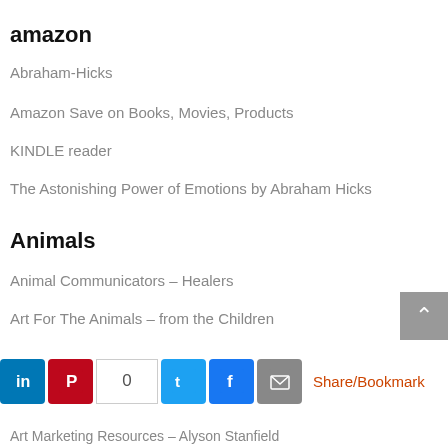amazon
Abraham-Hicks
Amazon Save on Books, Movies, Products
KINDLE reader
The Astonishing Power of Emotions by Abraham Hicks
Animals
Animal Communicators – Healers
Art For The Animals – from the Children
art business
“I’d rather be in the studio”
Alyson Stanfield – Art Biz Coach
Art Biz Blog
Art Marketing Resources – Alyson Stanfield